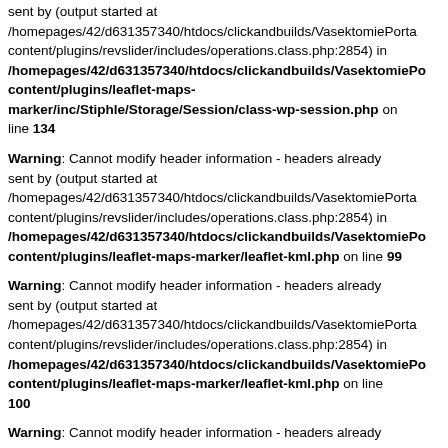sent by (output started at /homepages/42/d631357340/htdocs/clickandbuilds/VasektomiePortal/content/plugins/revslider/includes/operations.class.php:2854) in /homepages/42/d631357340/htdocs/clickandbuilds/VasektomiePo content/plugins/leaflet-maps-marker/inc/Stiphle/Storage/Session/class-wp-session.php on line 134
Warning: Cannot modify header information - headers already sent by (output started at /homepages/42/d631357340/htdocs/clickandbuilds/VasektomiePortal/content/plugins/revslider/includes/operations.class.php:2854) in /homepages/42/d631357340/htdocs/clickandbuilds/VasektomiePo content/plugins/leaflet-maps-marker/leaflet-kml.php on line 99
Warning: Cannot modify header information - headers already sent by (output started at /homepages/42/d631357340/htdocs/clickandbuilds/VasektomiePortal/content/plugins/revslider/includes/operations.class.php:2854) in /homepages/42/d631357340/htdocs/clickandbuilds/VasektomiePo content/plugins/leaflet-maps-marker/leaflet-kml.php on line 100
Warning: Cannot modify header information - headers already sent by (output started at /homepages/42/d631357340/htdocs/clickandbuilds/VasektomiePortal/...